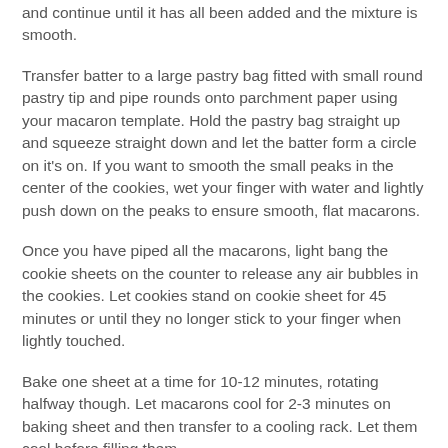and continue until it has all been added and the mixture is smooth.
Transfer batter to a large pastry bag fitted with small round pastry tip and pipe rounds onto parchment paper using your macaron template. Hold the pastry bag straight up and squeeze straight down and let the batter form a circle on it's on. If you want to smooth the small peaks in the center of the cookies, wet your finger with water and lightly push down on the peaks to ensure smooth, flat macarons.
Once you have piped all the macarons, light bang the cookie sheets on the counter to release any air bubbles in the cookies. Let cookies stand on cookie sheet for 45 minutes or until they no longer stick to your finger when lightly touched.
Bake one sheet at a time for 10-12 minutes, rotating halfway though. Let macarons cool for 2-3 minutes on baking sheet and then transfer to a cooling rack. Let them cool before filling them.
To make the filling: